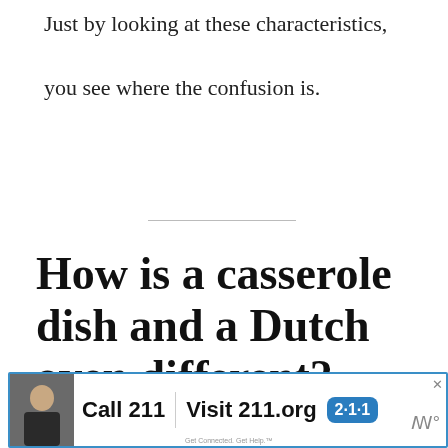Just by looking at these characteristics, you see where the confusion is.
How is a casserole dish and a Dutch oven different?
[Figure (other): Black rounded-rectangle button with yellow circle arrow icon and text 'View Examples']
[Figure (other): Advertisement banner: photo of person, 'Call 211 | Visit 211.org' with blue 2·1·1 badge, close button, wifi-like icon]